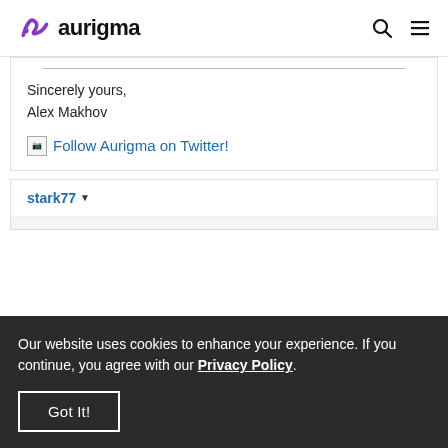aurigma
Sincerely yours,
Alex Makhov
[UserPostedImage] Follow Aurigma on Twitter!
stark77
Our website uses cookies to enhance your experience. If you continue, you agree with our Privacy Policy.
Got It!